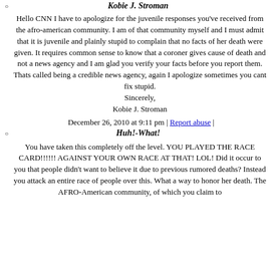Kobie J. Stroman
Hello CNN I have to apologize for the juvenile responses you've received from the afro-american community. I am of that community myself and I must admit that it is juvenile and plainly stupid to complain that no facts of her death were given. It requires common sense to know that a coroner gives cause of death and not a news agency and I am glad you verify your facts before you report them. Thats called being a credible news agency, again I apologize sometimes you cant fix stupid.
Sincerely,
Kobie J. Stroman
December 26, 2010 at 9:11 pm | Report abuse |
Huh!-What!
You have taken this completely off the level. YOU PLAYED THE RACE CARD!!!!!! AGAINST YOUR OWN RACE AT THAT! LOL! Did it occur to you that people didn't want to believe it due to previous rumored deaths? Instead you attack an entire race of people over this. What a way to honor her death. The AFRO-American community, of which you claim to